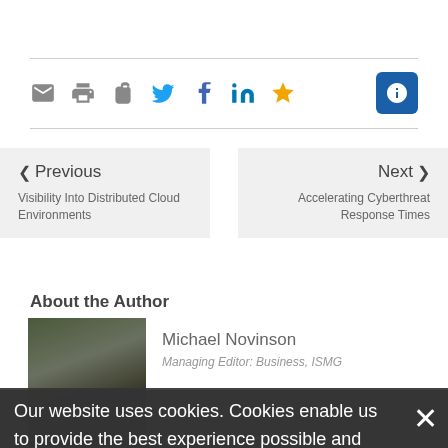[Figure (infographic): Toolbar with social share icons: mail, print, briefcase (grey), Twitter (blue), Facebook (blue), LinkedIn (blue), star (gold), and an info button (blue square with i)]
❮ Previous
Visibility Into Distributed Cloud Environments
Next ❯
Accelerating Cyberthreat Response Times
About the Author
Michael Novinson
Managing Editor: Business, ISMG
Our website uses cookies. Cookies enable us to provide the best experience possible and help us understand how visitors use our website. By browsing bankinfosecurity.asia, you agree to our use of cookies.